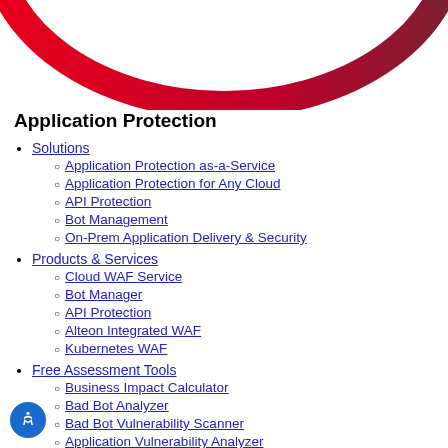[Figure (illustration): Partial circular logo graphic in red/dark red at the top of the page, cropped]
Application Protection
Solutions
Application Protection as-a-Service
Application Protection for Any Cloud
API Protection
Bot Management
On-Prem Application Delivery & Security
Products & Services
Cloud WAF Service
Bot Manager
API Protection
Alteon Integrated WAF
Kubernetes WAF
Free Assessment Tools
Business Impact Calculator
Bad Bot Analyzer
Bad Bot Vulnerability Scanner
Application Vulnerability Analyzer